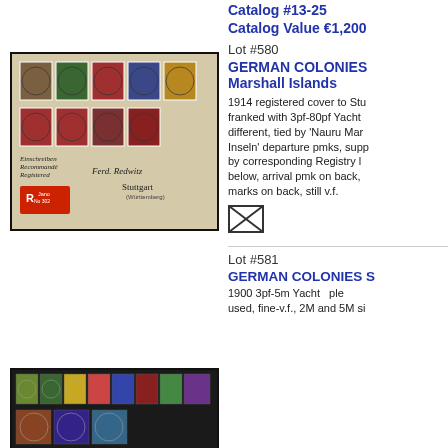Catalog #13-25
Catalog Value €1,200
[Figure (photo): 1914 registered cover to Stuttgart franked with Marshall Islands Yacht stamps, tied by Nauru Marshall-Inseln departure postmarks, with Registry label, arrival pmk on back.]
Lot #580
GERMAN COLONIES Marshall Islands
1914 registered cover to Stu... franked with 3pf-80pf Yacht... different, tied by 'Nauru Mar... Inseln' departure pmks, supp... by corresponding Registry l... below, arrival pmk on back, ... marks on back, still v.f.
Lot #581
GERMAN COLONIES S...
1900 3pf-5m Yacht... ple... used, fine-v.f., 2M and 5M si...
[Figure (photo): German Colonies yacht stamps set, used, including 2M and 5M high values.]